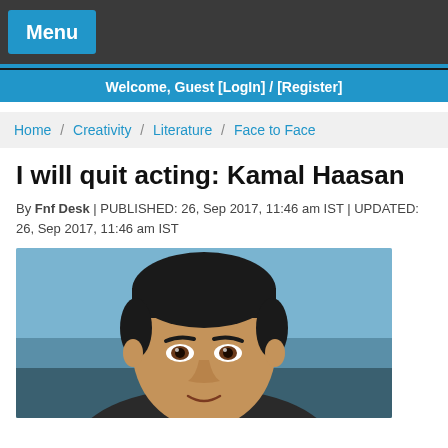Menu
Welcome, Guest [LogIn] / [Register]
Home / Creativity / Literature / Face to Face
I will quit acting: Kamal Haasan
By Fnf Desk | PUBLISHED: 26, Sep 2017, 11:46 am IST | UPDATED: 26, Sep 2017, 11:46 am IST
[Figure (photo): Portrait photo of Kamal Haasan, showing his face and upper body against a light blue background]